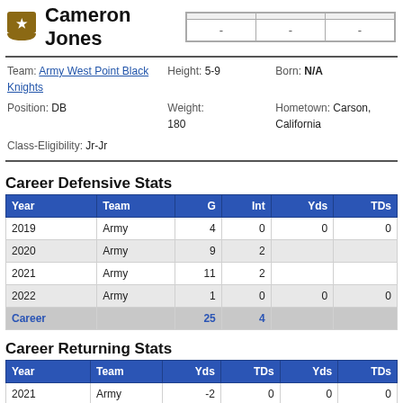Cameron Jones
| - | - | - |
| --- | --- | --- |
Team: Army West Point Black Knights  Height: 5-9  Born: N/A
Position: DB  Weight: 180  Hometown: Carson, California
Class-Eligibility: Jr-Jr
Career Defensive Stats
| Year | Team | G | Int | Yds | TDs |
| --- | --- | --- | --- | --- | --- |
| 2019 | Army | 4 | 0 | 0 | 0 |
| 2020 | Army | 9 | 2 |  |  |
| 2021 | Army | 11 | 2 |  |  |
| 2022 | Army | 1 | 0 | 0 | 0 |
| Career |  | 25 | 4 |  |  |
Career Returning Stats
| Year | Team | Yds | TDs | Yds | TDs |
| --- | --- | --- | --- | --- | --- |
| 2021 | Army | -2 | 0 | 0 | 0 |
| Career |  | 0 | 0 | 0 | 0 |